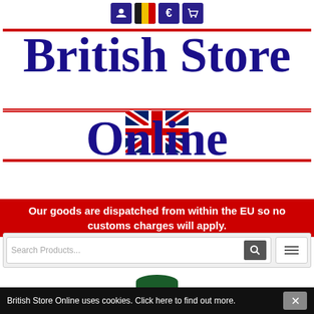[Figure (logo): British Store Online logo with navigation icons (user, Belgium flag, euro, cart), large bold serif text 'British Store Online', UK flag graphic, and red horizontal decorative lines]
Our goods are dispatched from within the EU so no customs charges will apply.
[Figure (screenshot): Search bar with 'Search Products...' placeholder and search button, plus hamburger menu button on the right]
[Figure (photo): Partial view of a dark green product item (mug/cup)]
British Store Online uses cookies. Click here to find out more.